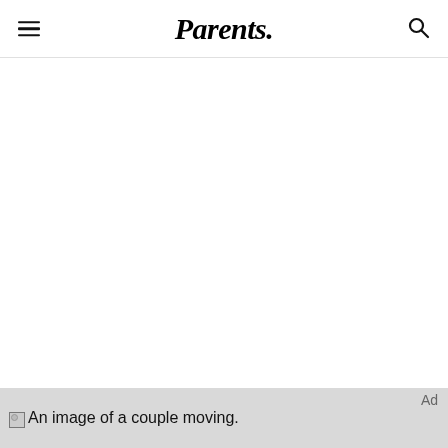Parents.
[Figure (photo): An image of a couple moving. Ad overlay in top right.]